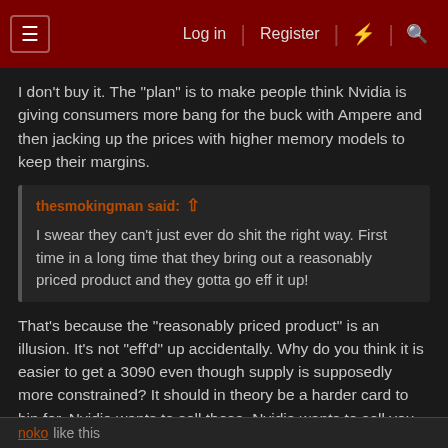Log in | Register | What's new | Search
I don't buy it. The "plan" is to make people think Nvidia is giving consumers more bang for the buck with Ampere and then jacking up the prices with higher memory models to keep their margins.
thesmokingman said: ↑
I swear they can't just ever do shit the right way. First time in a long time that they bring out a reasonably priced product and they gotta go eff it up!
That's because the "reasonably priced product" is an illusion. It's not "eff'd" up accidentally. Why do you think it is easier to get a 3090 even though supply is supposedly more constrained? It should in theory be a harder card to bin for. Nvidia wants to sell those. Nvidia wants to sell you the 20GB 3080's because there is more margin.
noko like this